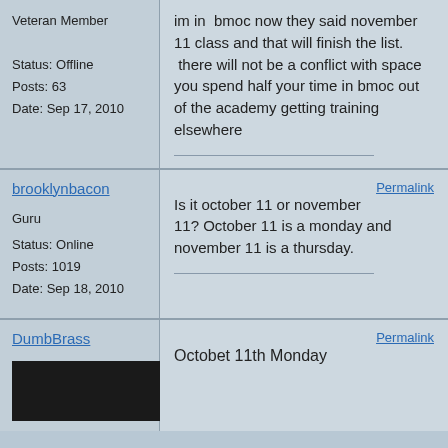Veteran Member
Status: Offline
Posts: 63
Date: Sep 17, 2010
im in bmoc now they said november 11 class and that will finish the list. there will not be a conflict with space you spend half your time in bmoc out of the academy getting training elsewhere
brooklynbacon
Permalink
Guru
Status: Online
Posts: 1019
Date: Sep 18, 2010
Is it october 11 or november 11? October 11 is a monday and november 11 is a thursday.
DumbBrass
Permalink
Octobet 11th Monday
[Figure (photo): Dark/black avatar image placeholder]